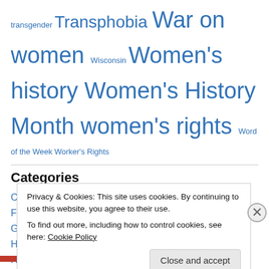transgender Transphobia War on women Wisconsin Women's history Women's History Month women's rights Word of the Week Worker's Rights
Categories
Civil Rights (957)
Feminism (1,270)
Government (1,729)
History (1,845)
Humor (146)
Interviews (72)
Privacy & Cookies: This site uses cookies. By continuing to use this website, you agree to their use. To find out more, including how to control cookies, see here: Cookie Policy
Close and accept